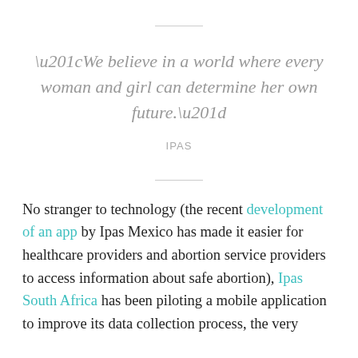“We believe in a world where every woman and girl can determine her own future.”
IPAS
No stranger to technology (the recent development of an app by Ipas Mexico has made it easier for healthcare providers and abortion service providers to access information about safe abortion), Ipas South Africa has been piloting a mobile application to improve its data collection process, the very